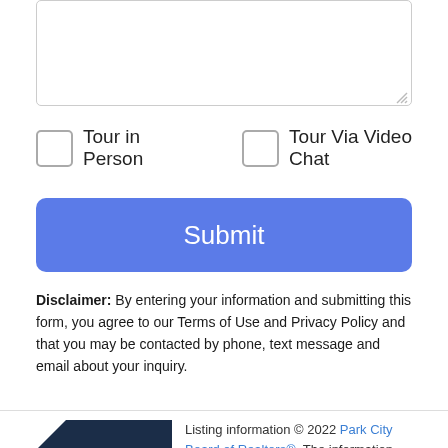[Figure (screenshot): Textarea input box at top of page]
Tour in Person
Tour Via Video Chat
Submit
Disclaimer: By entering your information and submitting this form, you agree to our Terms of Use and Privacy Policy and that you may be contacted by phone, text message and email about your inquiry.
[Figure (logo): Park City Board of Realtors logo - dark navy background with white text]
Listing information © 2022 Park City Board of Realtors®. The information provided is for consumers' personal, non-commercial use and may not be used for any purpose other than to identify prospective properties consumers may be interested in purchasing. All properties are subject to prior sale or withdrawal. All
Take a Tour
Ask A Question